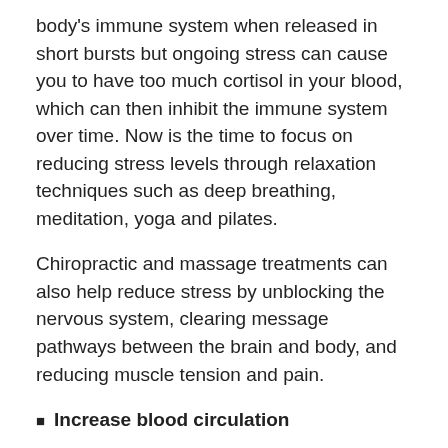body's immune system when released in short bursts but ongoing stress can cause you to have too much cortisol in your blood, which can then inhibit the immune system over time. Now is the time to focus on reducing stress levels through relaxation techniques such as deep breathing, meditation, yoga and pilates.
Chiropractic and massage treatments can also help reduce stress by unblocking the nervous system, clearing message pathways between the brain and body, and reducing muscle tension and pain.
Increase blood circulation
Even though it's cold outside, it's important to keep your blood circulating through exercise. Your blood is important for transporting oxygen around your body and helping to